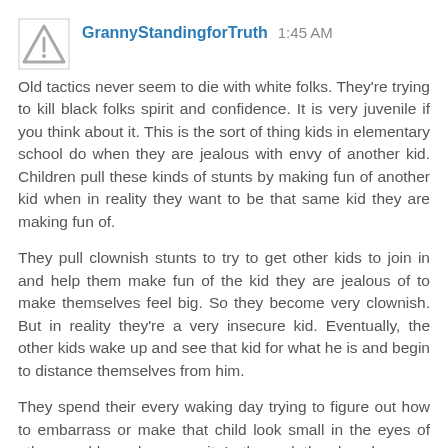GrannyStandingforTruth 1:45 AM
Old tactics never seem to die with white folks. They're trying to kill black folks spirit and confidence. It is very juvenile if you think about it. This is the sort of thing kids in elementary school do when they are jealous with envy of another kid. Children pull these kinds of stunts by making fun of another kid when in reality they want to be that same kid they are making fun of.
They pull clownish stunts to try to get other kids to join in and help them make fun of the kid they are jealous of to make themselves feel big. So they become very clownish. But in reality they're a very insecure kid. Eventually, the other kids wake up and see that kid for what he is and begin to distance themselves from him.
They spend their every waking day trying to figure out how to embarrass or make that child look small in the eyes of others and lose sleep over it. In the end, they lose because that child passes them and goes on to become very successful. While they wind up falling by the wayside and...